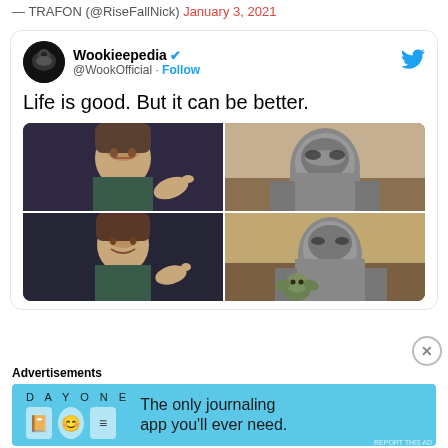— TRAFON (@RiseFallNick) January 3, 2021
[Figure (screenshot): Embedded tweet from Wookieepedia (@WookOfficial) with text 'Life is good. But it can be better.' and a 2x2 grid of images showing the Leonardo DiCaprio pointing meme alongside The Mandalorian in armor, displayed as a meme comparison]
Advertisements
[Figure (screenshot): Advertisement banner for Day One journaling app with light blue background, icons, and text 'The only journaling app you'll ever need.']